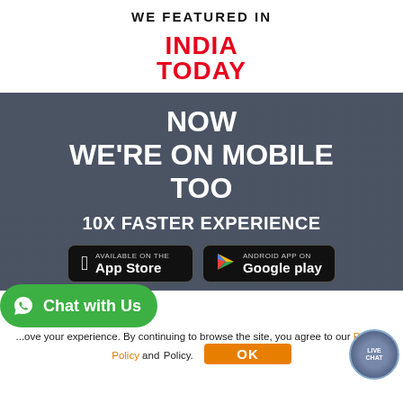WE FEATURED IN
[Figure (logo): India Today logo in red bold text]
[Figure (infographic): Dark background section with text: NOW WE'RE ON MOBILE TOO, 10X FASTER EXPERIENCE, with App Store and Google Play badges]
...ove your experience. By continuing to browse the site, you agree to our Privacy Policy and... Policy.
[Figure (other): Green WhatsApp Chat with Us bubble button on the left]
[Figure (other): Live Chat circular badge on bottom right]
OK